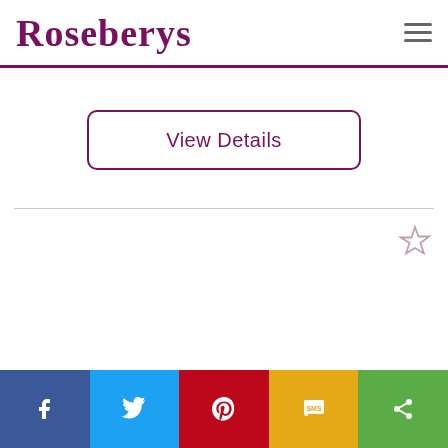Roseberys
View Details
[Figure (photo): Black and white photo of two people]
Social share bar: Facebook, Twitter, Pinterest, SMS, Share